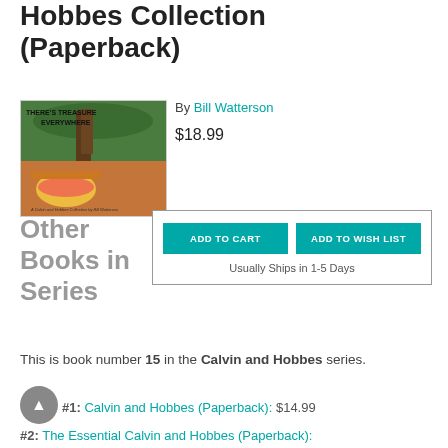Hobbes Collection (Paperback)
[Figure (photo): Book cover image for a Calvin and Hobbes Collection paperback, showing Calvin and Hobbes lying in an outdoor scene with the title 'There's Treasure Everywhere']
By Bill Watterson
$18.99
ADD TO CART
ADD TO WISH LIST
Usually Ships in 1-5 Days
Other Books in Series
This is book number 15 in the Calvin and Hobbes series.
#1: Calvin and Hobbes (Paperback): $14.99
#2: The Essential Calvin and Hobbes (Paperback):